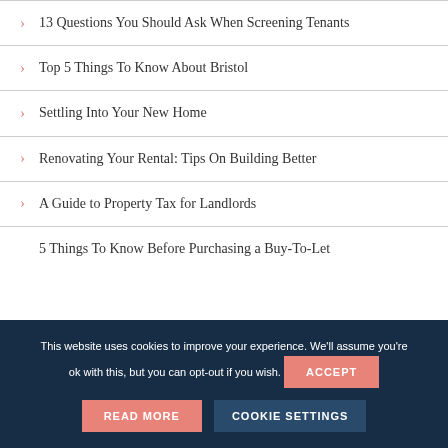13 Questions You Should Ask When Screening Tenants
Top 5 Things To Know About Bristol
Settling Into Your New Home
Renovating Your Rental: Tips On Building Better
A Guide to Property Tax for Landlords
5 Things To Know Before Purchasing a Buy-To-Let
This website uses cookies to improve your experience. We'll assume you're ok with this, but you can opt-out if you wish. ACCEPT READ MORE COOKIE SETTINGS